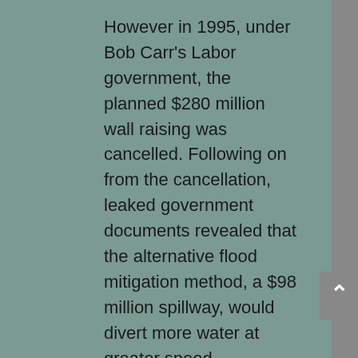However in 1995, under Bob Carr's Labor government, the planned $280 million wall raising was cancelled. Following on from the cancellation, leaked government documents revealed that the alternative flood mitigation method, a $98 million spillway, would divert more water at greater speed.
Some criticised the government for not devising a comprehensive alternative flood-management strategy for the river's increasingly urbanised floodplain.
The auxiliary spillway, which provides protection for the integrity of the dam but no protection for the people downstream, operates in the event of a flood with one